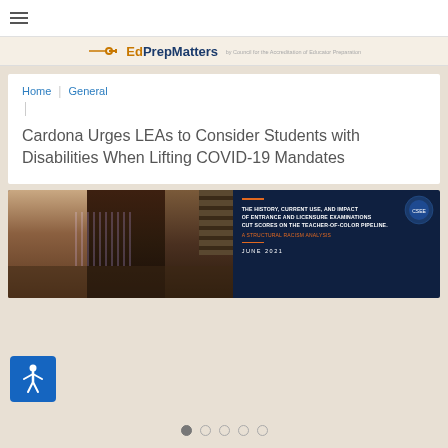Navigation menu (hamburger icon)
[Figure (logo): EdPrepMatters logo with key icon and tagline]
Home | General
Cardona Urges LEAs to Consider Students with Disabilities When Lifting COVID-19 Mandates
[Figure (photo): Banner image showing three students collaborating at a table, alongside a dark navy panel with text: THE HISTORY, CURRENT USE, AND IMPACT OF ENTRANCE AND LICENSURE EXAMINATIONS CUT SCORES ON THE TEACHER-OF-COLOR PIPELINE. A STRUCTURAL RACISM ANALYSIS. JUNE 2021]
[Figure (other): Accessibility icon button (person with arms outstretched in blue square)]
Pagination dots: 1 2 3 4 5